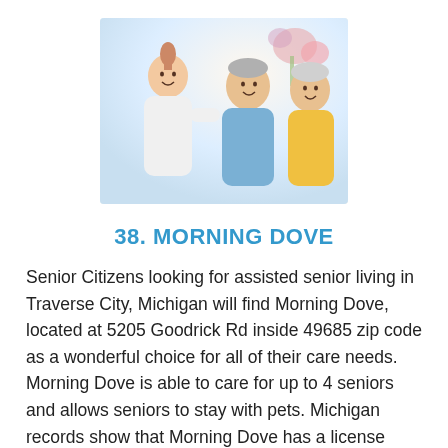[Figure (photo): A caregiver in white and an elderly couple, one man in a blue shirt and one woman in a yellow sweater, smiling and talking together in a bright indoor setting with flowers in the background.]
38. MORNING DOVE
Senior Citizens looking for assisted senior living in Traverse City, Michigan will find Morning Dove, located at 5205 Goodrick Rd inside 49685 zip code as a wonderful choice for all of their care needs. Morning Dove is able to care for up to 4 seniors and allows seniors to stay with pets. Michigan records show that Morning Dove has a license number of AF280300565. With amenities that include housekeeping,